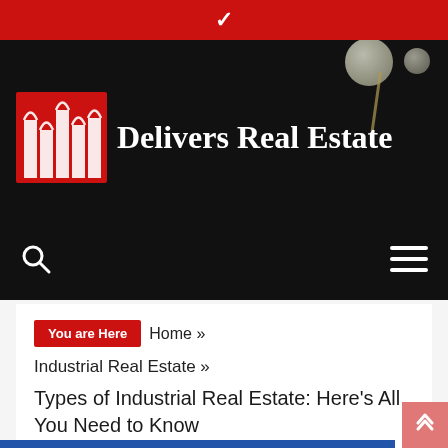[Figure (screenshot): Website header screenshot showing Delivers Real Estate logo with red building icon on black background, red top bar with chevron, and navigation bar with search and hamburger menu icons]
You are Here   Home »
Industrial Real Estate »
Types of Industrial Real Estate: Here's All You Need to Know